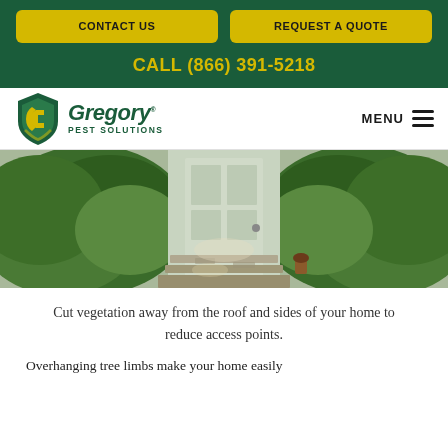CONTACT US | REQUEST A QUOTE | CALL (866) 391-5218
[Figure (logo): Gregory Pest Solutions logo with yellow and green shield icon and bold green italic Gregory text]
[Figure (photo): A front porch entrance with a white door flanked by dense green bushes and shrubs, with a stone pathway leading up to the door]
Cut vegetation away from the roof and sides of your home to reduce access points.
Overhanging tree limbs make your home easily